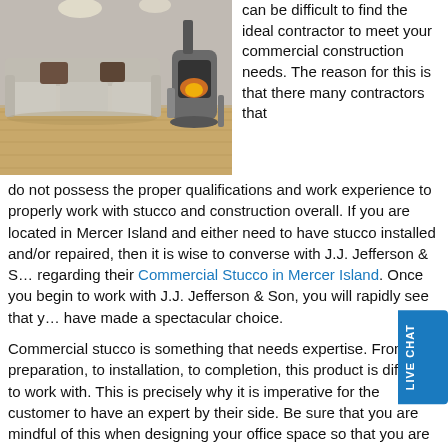[Figure (photo): Interior room with a gray sectional sofa, warm wood flooring, and a modern cylindrical fireplace/wood stove against a textured gray wall with recessed lighting.]
can be difficult to find the ideal contractor to meet your commercial construction needs. The reason for this is that there many contractors that do not possess the proper qualifications and work experience to properly work with stucco and construction overall. If you are located in Mercer Island and either need to have stucco installed and/or repaired, then it is wise to converse with J.J. Jefferson & S… regarding their Commercial Stucco in Mercer Island. Once you begin to work with J.J. Jefferson & Son, you will rapidly see that y… have made a spectacular choice.
Commercial stucco is something that needs expertise. From preparation, to installation, to completion, this product is difficult to work with. This is precisely why it is imperative for the customer to have an expert by their side. Be sure that you are mindful of this when designing your office space so that you are not in for any